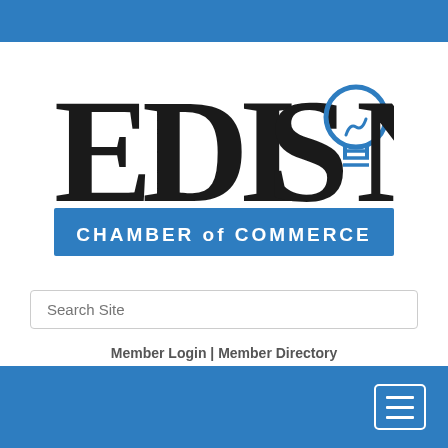[Figure (logo): Edison Chamber of Commerce logo — large serif 'EDISON' text in black with a blue lightbulb replacing the 'O', and a blue rectangular banner beneath reading 'CHAMBER of COMMERCE' in white letters]
Search Site
Member Login | Member Directory